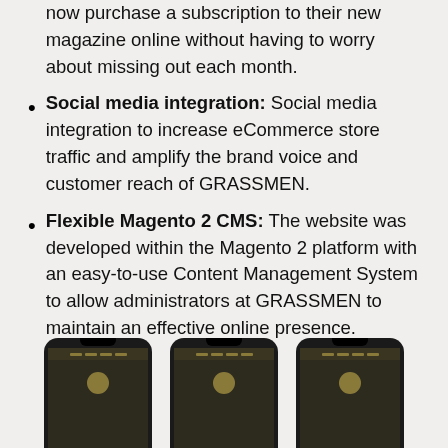now purchase a subscription to their new magazine online without having to worry about missing out each month.
Social media integration: Social media integration to increase eCommerce store traffic and amplify the brand voice and customer reach of GRASSMEN.
Flexible Magento 2 CMS: The website was developed within the Magento 2 platform with an easy-to-use Content Management System to allow administrators at GRASSMEN to maintain an effective online presence.
[Figure (photo): Three smartphone mockups showing a website displayed on mobile screens, partially cropped at bottom of page.]